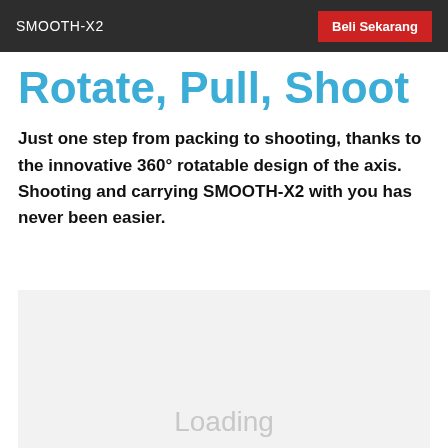SMOOTH-X2
Rotate, Pull, Shoot
Just one step from packing to shooting, thanks to the innovative 360° rotatable design of the axis. Shooting and carrying SMOOTH-X2 with you has never been easier.
[Figure (other): Loading placeholder box with light gray background and 'Loading' text]